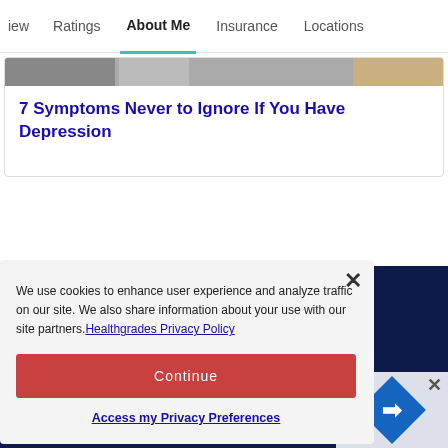iew   Ratings   About Me   Insurance   Locations
7 Symptoms Never to Ignore If You Have Depression
We use cookies to enhance user experience and analyze traffic on our site. We also share information about your use with our site partners. Healthgrades Privacy Policy
Continue
Access my Privacy Preferences